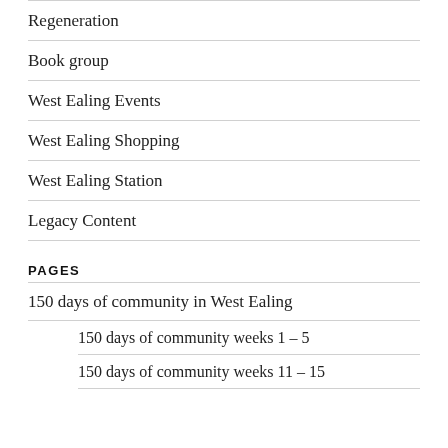Regeneration
Book group
West Ealing Events
West Ealing Shopping
West Ealing Station
Legacy Content
PAGES
150 days of community in West Ealing
150 days of community weeks 1 – 5
150 days of community weeks 11 – 15